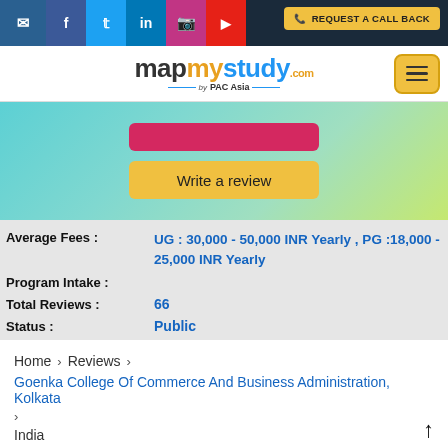Social icons bar with email, facebook, twitter, linkedin, instagram, youtube and REQUEST A CALL BACK button
[Figure (logo): mapmystudy.com by PAC Asia logo with hamburger menu button]
[Figure (screenshot): Hero banner with red button partially visible and yellow 'Write a review' button]
Average Fees : UG : 30,000 - 50,000 INR Yearly , PG :18,000 - 25,000 INR Yearly
Program Intake :
Total Reviews : 66
Status : Public
Home > Reviews > Goenka College Of Commerce And Business Administration, Kolkata > India